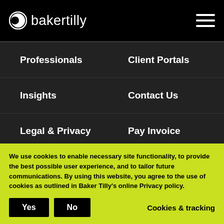bakertilly
Professionals
Client Portals
Insights
Contact Us
Legal & Privacy
Pay Invoice
Baker Tilly US, LLP, trading as Baker Tilly, is a member of the global network of Baker Tilly International Ltd., the members of which are
We use cookies to enable necessary site functionality, to provide the best possible user experience, and to tailor future communications. By using this website, you agree to the use of cookies as outlined in Baker Tilly's online Privacy policy.
Yes
No
Cookies & tracking